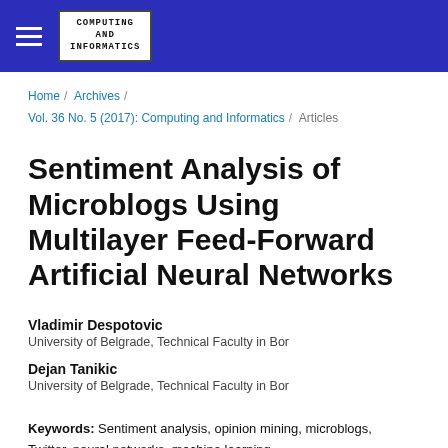Computing and Informatics
Home / Archives / Vol. 36 No. 5 (2017): Computing and Informatics / Articles
Sentiment Analysis of Microblogs Using Multilayer Feed-Forward Artificial Neural Networks
Vladimir Despotovic
University of Belgrade, Technical Faculty in Bor
Dejan Tanikic
University of Belgrade, Technical Faculty in Bor
Keywords: Sentiment analysis, opinion mining, microblogs, Twitter, neural networks, machine learning